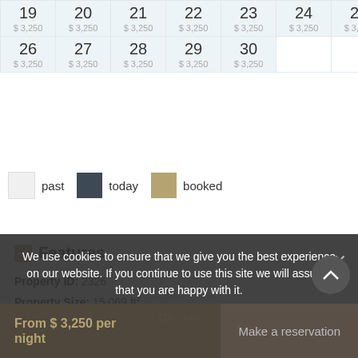| 19 $3,250 | 20 $3,250 | 21 $3,250 | 22 $3,250 | 23 $3,250 | 24 $3,250 | 25 $3,250 |
| --- | --- | --- | --- | --- | --- | --- |
| 26 $3,250 | 27 $3,250 | 28 $3,250 | 29 $3,250 | 30 $3,250 |  |  |
past   today   booked
Features
Property ID: 2326
Property Size: 15,069 ft²
We use cookies to ensure that we give you the best experience on our website. If you continue to use this site we will assume that you are happy with it.
Ok  No
From $ 3,250 per night
Make a reservation